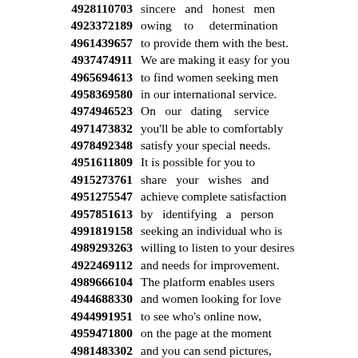4928110703 sincere and honest men
4923372189 owing to determination
4961439657 to provide them with the best.
4937474911 We are making it easy for you
4965694613 to find women seeking men
4958369580 in our international service.
4974946523 On our dating service
4971473832 you'll be able to comfortably
4978492348 satisfy your special needs.
4951611809 It is possible for you to
4915273761 share your wishes and
4951275547 achieve complete satisfaction
4957851613 by identifying a person
4991819158 seeking an individual who is
4989293263 willing to listen to your desires
4922469112 and needs for improvement.
4989666104 The platform enables users
4944688330 and women looking for love
4944991951 to see who's online now,
4959471800 on the page at the moment
4981483302 and you can send pictures,
4933957113 send messages and more!
4946960812 Our website allows you to
4943275563 send messages to women
4915208378 at any time you wish.
4911943575